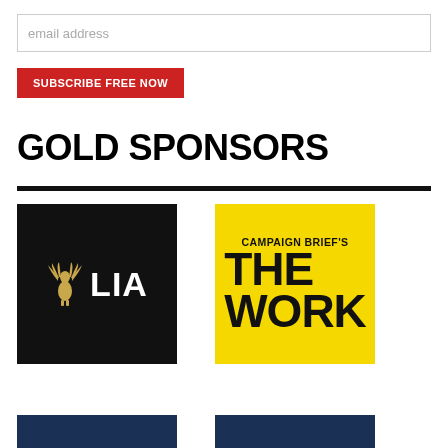email address
SUBSCRIBE FREE NOW
GOLD SPONSORS
[Figure (logo): LIA logo — black background with gold stylized bird/eagle and white text 'LIA']
[Figure (logo): Campaign Brief's THE WORK logo — yellow background with bold black text 'CAMPAIGN BRIEF'S THE WORK']
[Figure (logo): Partial dark navy blue logo at bottom left, cropped]
[Figure (logo): Partial dark navy blue logo at bottom right, cropped]